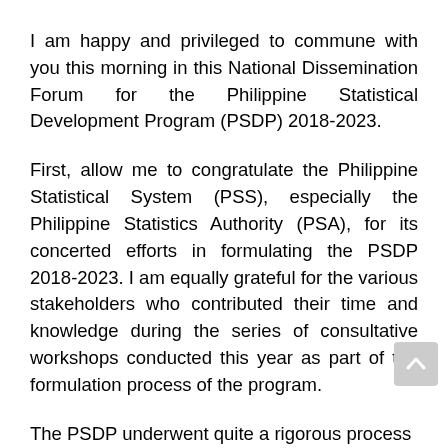I am happy and privileged to commune with you this morning in this National Dissemination Forum for the Philippine Statistical Development Program (PSDP) 2018-2023.
First, allow me to congratulate the Philippine Statistical System (PSS), especially the Philippine Statistics Authority (PSA), for its concerted efforts in formulating the PSDP 2018-2023. I am equally grateful for the various stakeholders who contributed their time and knowledge during the series of consultative workshops conducted this year as part of the formulation process of the program.
The PSDP underwent quite a rigorous process